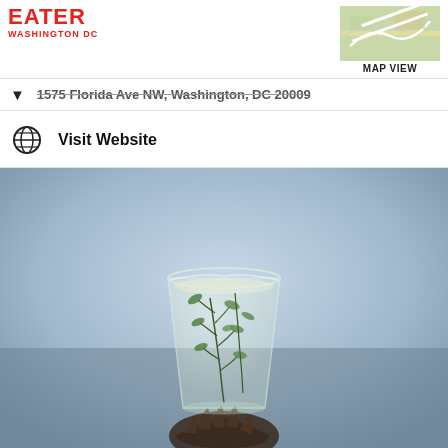EATER WASHINGTON DC
1575 Florida Ave NW, Washington, DC 20009
Visit Website
[Figure (photo): A hand holding a clear glass cocktail cup containing a light-colored drink garnished with fresh herb sprigs, against a blurred blue-gray background.]